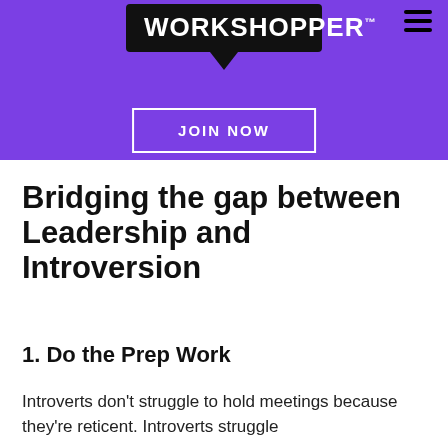WORKSHOPPER™ — JOIN NOW banner
Bridging the gap between Leadership and Introversion
1. Do the Prep Work
Introverts don't struggle to hold meetings because they're reticent. Introverts struggle